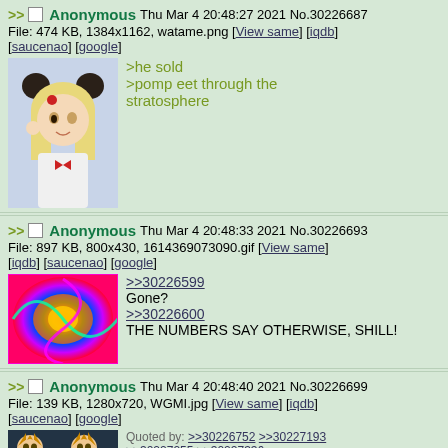>> Anonymous Thu Mar 4 20:48:27 2021 No.30226687
File: 474 KB, 1384x1162, watame.png [View same] [iqdb] [saucenao] [google]
[Figure (illustration): Anime girl with blonde hair and hair buns, holding something to her ear, wearing a bow tie]
>he sold
>pomp eet through the stratosphere
>> Anonymous Thu Mar 4 20:48:33 2021 No.30226693
File: 897 KB, 800x430, 1614369073090.gif [View same] [iqdb] [saucenao] [google]
[Figure (photo): Colorful psychedelic swirling image with bright rainbow colors]
>>30226599
Gone?
>>30226600
THE NUMBERS SAY OTHERWISE, SHILL!
>> Anonymous Thu Mar 4 20:48:40 2021 No.30226699
File: 139 KB, 1280x720, WGMI.jpg [View same] [iqdb] [saucenao] [google]
Quoted by: >>30226752 >>30227193 >>30227255 >>30227336
[Figure (screenshot): Two anime characters from Yu-Gi-Oh]